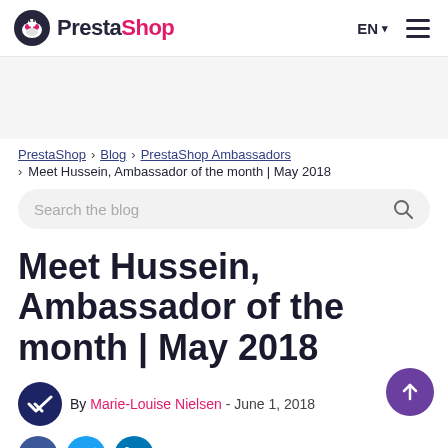PrestaShop | EN | menu
[Figure (other): Gray advertisement/banner placeholder area]
PrestaShop › Blog › PrestaShop Ambassadors › Meet Hussein, Ambassador of the month | May 2018
Search the blog
Meet Hussein, Ambassador of the month | May 2018
By Marie-Louise Nielsen - June 1, 2018
[Figure (other): Social share icons: Facebook, Twitter, LinkedIn]